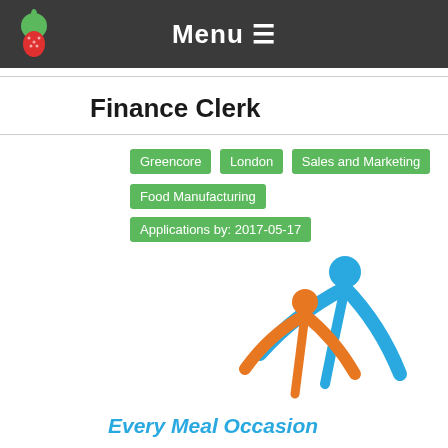Menu ☰
Finance Clerk
Greencore  London  Sales and Marketing
Food Manufacturing  Applications by: 2017-05-17
[Figure (logo): Greencore logo with two stylized figures in blue and orange, and tagline 'Every Meal Occasion' in blue italic text]
The Role Are you a Finance Clerk who thrives in a fast